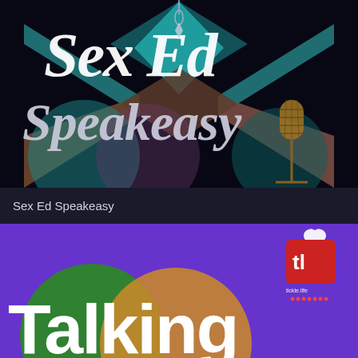[Figure (illustration): Sex Ed Speakeasy podcast cover art: dark/black background with colorful overlapping diamond and X shapes in teal, purple, brown and tan. Large stylized white italic text reads 'Sex Ed Speakeasy'. A vintage gold microphone is on the lower right.]
Sex Ed Speakeasy
[Figure (illustration): Purple background podcast card showing overlapping circles in green and gold/tan on the lower left. Large bold white text reads 'Talking'. Upper right has tickle.life logo: red square with white 'tl' text and a white heart shape, with small red dots below.]